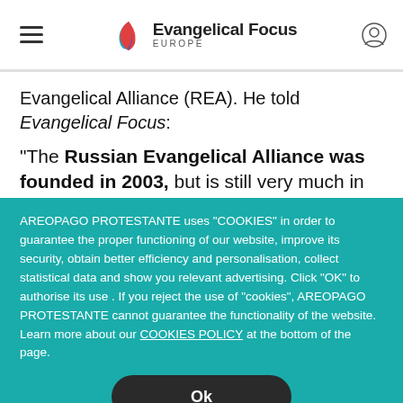Evangelical Focus EUROPE
Evangelical Alliance (REA). He told Evangelical Focus:
“The Russian Evangelical Alliance was founded in 2003, but is still very much in
AREOPAGO PROTESTANTE uses “COOKIES” in order to guarantee the proper functioning of our website, improve its security, obtain better efficiency and personalisation, collect statistical data and show you relevant advertising. Click “OK” to authorise its use . If you reject the use of “cookies”, AREOPAGO PROTESTANTE cannot guarantee the functionality of the website. Learn more about our COOKIES POLICY at the bottom of the page.
Ok